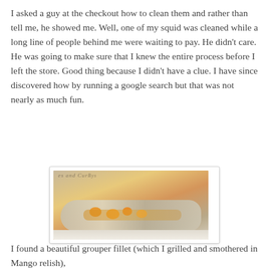I asked a guy at the checkout how to clean them and rather than tell me, he showed me. Well, one of my squid was cleaned while a long line of people behind me were waiting to pay. He didn't care. He was going to make sure that I knew the entire process before I left the store. Good thing because I didn't have a clue. I have since discovered how by running a google search but that was not nearly as much fun.
[Figure (photo): Close-up photo of a grilled grouper fillet topped with mango relish (orange chunks and green herbs) on a white plate with cursive text around the rim.]
I found a beautiful grouper fillet (which I grilled and smothered in Mango relish),
[Figure (photo): Close-up photo of a fish dish with tomatoes, herbs and garnish on a light background, partially visible.]